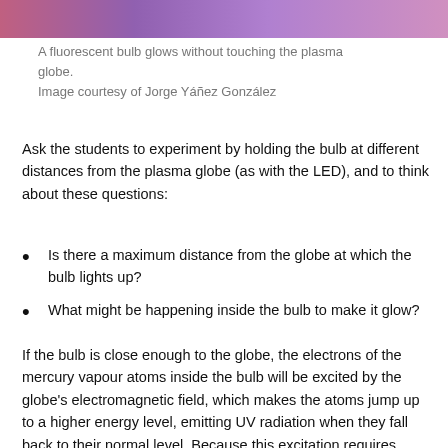[Figure (photo): Top portion of a photo showing a plasma globe with colorful pink/purple glowing light.]
A fluorescent bulb glows without touching the plasma globe.
Image courtesy of Jorge Yáñez González
Ask the students to experiment by holding the bulb at different distances from the plasma globe (as with the LED), and to think about these questions:
Is there a maximum distance from the globe at which the bulb lights up?
What might be happening inside the bulb to make it glow?
If the bulb is close enough to the globe, the electrons of the mercury vapour atoms inside the bulb will be excited by the globe's electromagnetic field, which makes the atoms jump up to a higher energy level, emitting UV radiation when they fall back to their normal level. Because this excitation requires